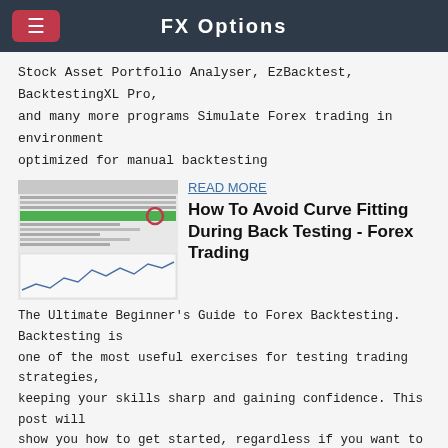FX Options
Stock Asset Portfolio Analyser, EzBacktest, BacktestingXL Pro, and many more programs Simulate Forex trading in environment optimized for manual backtesting
[Figure (screenshot): Screenshot of a backtesting spreadsheet with green highlighted row and a chart below]
READ MORE
How To Avoid Curve Fitting During Back Testing - Forex Trading
The Ultimate Beginner's Guide to Forex Backtesting. Backtesting is one of the most useful exercises for testing trading strategies, keeping your skills sharp and gaining confidence. This post will show you how to get started, regardless if you want to do manual or automated backtesting.
[Figure (screenshot): Screenshot of a forex trading interface with blue background and red highlighted element]
READ MORE